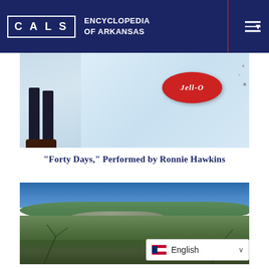CALS ENCYCLOPEDIA OF ARKANSAS
[Figure (photo): Cropped photo showing legs/feet of a person standing near a Jell-O advertisement sign with a red oval logo on a light blue background]
"Forty Days," Performed by Ronnie Hawkins
[Figure (photo): Outdoor landscape photo showing a rocky, wooded area with bare and green trees under a clear blue sky]